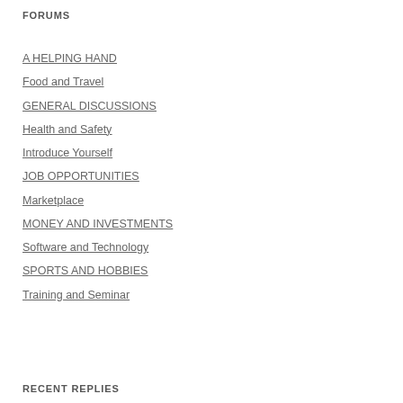FORUMS
A HELPING HAND
Food and Travel
GENERAL DISCUSSIONS
Health and Safety
Introduce Yourself
JOB OPPORTUNITIES
Marketplace
MONEY AND INVESTMENTS
Software and Technology
SPORTS AND HOBBIES
Training and Seminar
RECENT REPLIES